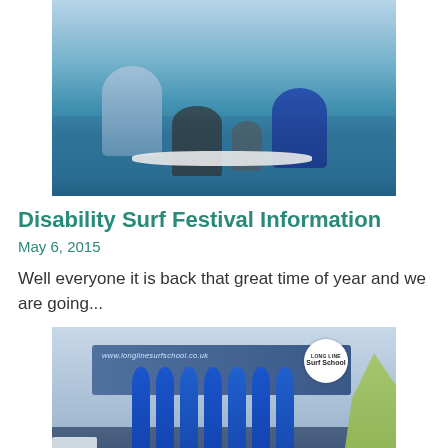[Figure (photo): People in wetsuits helping someone on a surfboard in shallow ocean water. Two instructors supporting a participant on a surfboard.]
Disability Surf Festival Information
May 6, 2015
Well everyone it is back that great time of year and we are going...
[Figure (photo): Group of people in colourful wetsuits and costumes standing in front of blue surfboards leaning against a Long Line Surf School branded van/truck. Banner reads www.longlinesurfschool.co.uk with the Long Line Surf School logo.]